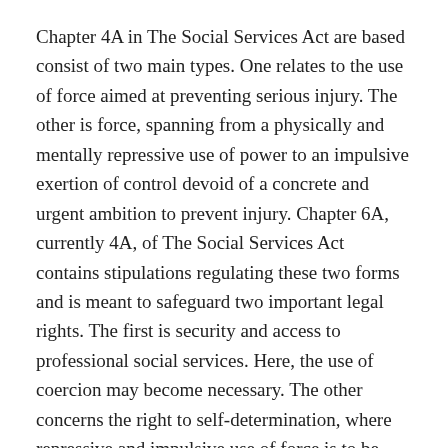Chapter 4A in The Social Services Act are based consist of two main types. One relates to the use of force aimed at preventing serious injury. The other is force, spanning from a physically and mentally repressive use of power to an impulsive exertion of control devoid of a concrete and urgent ambition to prevent injury. Chapter 6A, currently 4A, of The Social Services Act contains stipulations regulating these two forms and is meant to safeguard two important legal rights. The first is security and access to professional social services. Here, the use of coercion may become necessary. The other concerns the right to self-determination, where repressive and impulsive use of force is to be prevented and removed (Act of 19 December 2003, no. 134).